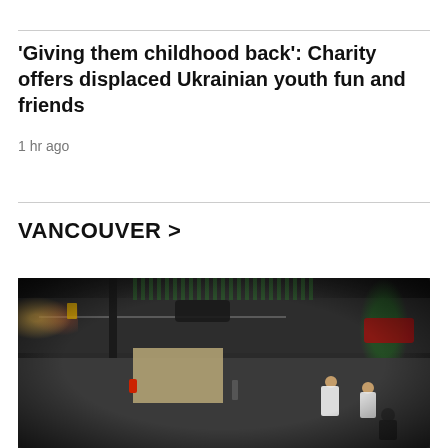'Giving them childhood back': Charity offers displaced Ukrainian youth fun and friends
1 hr ago
VANCOUVER >
[Figure (photo): Night-time fisheye CCTV surveillance camera footage of a street corner showing a road, crosswalk area, parked cars, trees, and several people crouched or gathered on the pavement at bottom right. A red fire hydrant is visible near a lamp pole on the left side.]